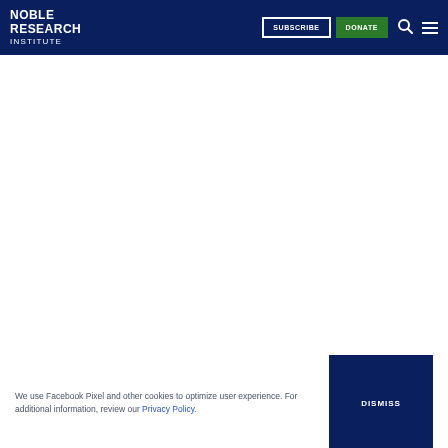NOBLE RESEARCH INSTITUTE — SUBSCRIBE | DONATE
We use Facebook Pixel and other cookies to optimize user experience. For additional information, review our Privacy Policy.
DISMISS